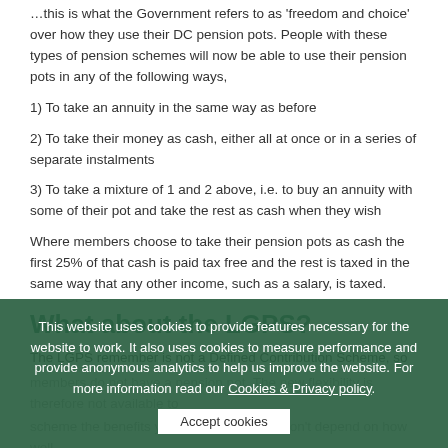…this is what the Government refers to as 'freedom and choice' over how they use their DC pension pots. People with these types of pension schemes will now be able to use their pension pots in any of the following ways,
1) To take an annuity in the same way as before
2) To take their money as cash, either all at once or in a series of separate instalments
3) To take a mixture of 1 and 2 above, i.e. to buy an annuity with some of their pot and take the rest as cash when they wish
Where members choose to take their pension pots as cash the first 25% of that cash is paid tax free and the rest is taxed in the same way that any other income, such as a salary, is taxed.
What about the LGPS?
The LGPS remember is not a Defined Contribution Scheme, so members do not have a pension pot. The new flexibility is therefore not available to LGPS members in the same way. The LGPS is a Defined Benefit pension scheme. In this type of scheme the benefits you get at retirement don't depend on how well
This website uses cookies to provide features necessary for the website to work. It also uses cookies to measure performance and provide anonymous analytics to help us improve the website. For more information read our Cookies & Privacy policy.